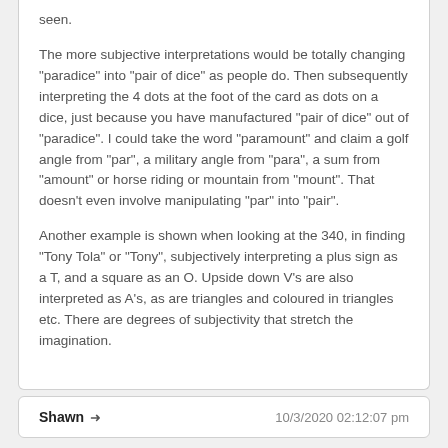seen.

The more subjective interpretations would be totally changing "paradice" into "pair of dice" as people do. Then subsequently interpreting the 4 dots at the foot of the card as dots on a dice, just because you have manufactured "pair of dice" out of "paradice". I could take the word "paramount" and claim a golf angle from "par", a military angle from "para", a sum from "amount" or horse riding or mountain from "mount". That doesn't even involve manipulating "par" into "pair".

Another example is shown when looking at the 340, in finding "Tony Tola" or "Tony", subjectively interpreting a plus sign as a T, and a square as an O. Upside down V's are also interpreted as A's, as are triangles and coloured in triangles etc. There are degrees of subjectivity that stretch the imagination.
Shawn → 10/3/2020 02:12:07 pm